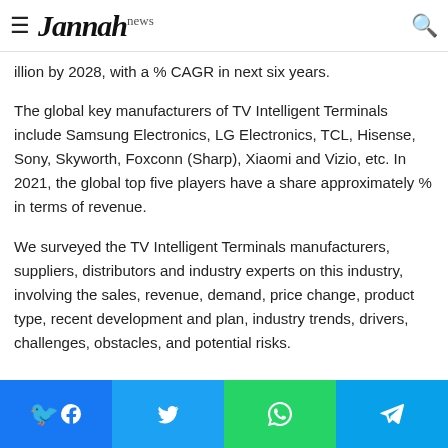Jannah news
illion by 2028, with a % CAGR in next six years.
The global key manufacturers of TV Intelligent Terminals include Samsung Electronics, LG Electronics, TCL, Hisense, Sony, Skyworth, Foxconn (Sharp), Xiaomi and Vizio, etc. In 2021, the global top five players have a share approximately % in terms of revenue.
We surveyed the TV Intelligent Terminals manufacturers, suppliers, distributors and industry experts on this industry, involving the sales, revenue, demand, price change, product type, recent development and plan, industry trends, drivers, challenges, obstacles, and potential risks.
Facebook Twitter WhatsApp Telegram